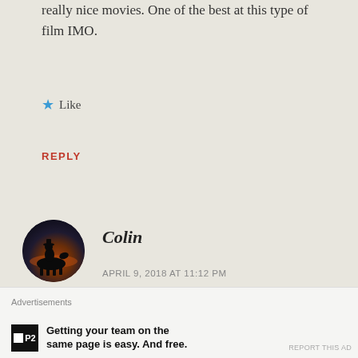really nice movies. One of the best at this type of film IMO.
★ Like
REPLY
Colin
APRIL 9, 2018 AT 11:12 PM
Jerry, seeing as you mention Selander, I saw a review of a Blu-ray of his Fort Courageous the other day. Now I know
[Figure (illustration): Circular avatar showing silhouette of a person on horseback at sunset with dark orange and deep blue tones]
Advertisements
Getting your team on the same page is easy. And free.